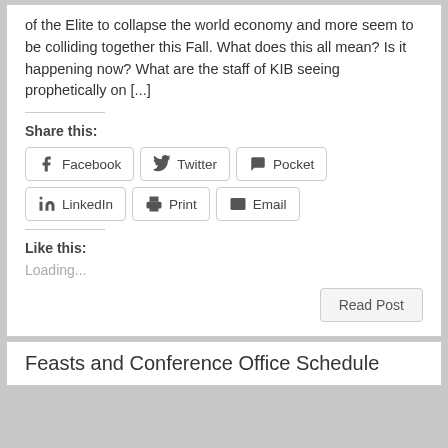of the Elite to collapse the world economy and more seem to be colliding together this Fall. What does this all mean? Is it happening now? What are the staff of KIB seeing prophetically on [...]
Share this:
Facebook | Twitter | Pocket | LinkedIn | Print | Email
Like this:
Loading...
Read Post
Feasts and Conference Office Schedule